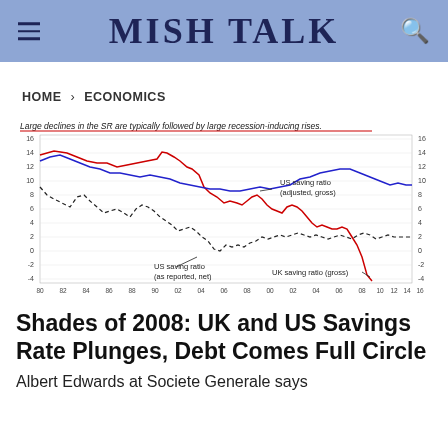MISH TALK
HOME › ECONOMICS
[Figure (line-chart): Line chart showing US saving ratio (adjusted, gross) in blue, US saving ratio (as reported, net) in black dashed, and UK saving ratio (gross) in red, from 1980 to 2016. All three series show a general declining trend with the UK saving ratio (gross) plunging sharply near the end.]
Shades of 2008: UK and US Savings Rate Plunges, Debt Comes Full Circle
Albert Edwards at Societe Generale says